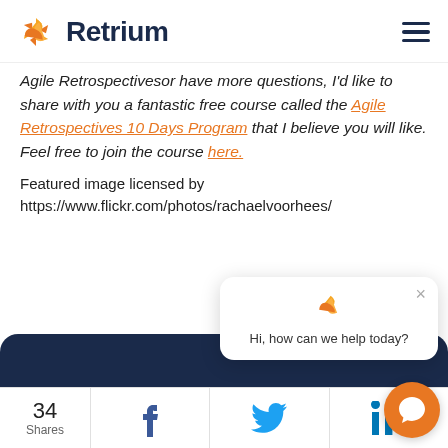Retrium
Agile Retrospectivesor have more questions, I'd like to share with you a fantastic free course called the Agile Retrospectives 10 Days Program that I believe you will like. Feel free to join the course here.
Featured image licensed by https://www.flickr.com/photos/rachaelvoorhees/
[Figure (screenshot): Chat popup widget with Retrium logo and message: Hi, how can we help today?]
34 Shares | Facebook | Twitter | LinkedIn